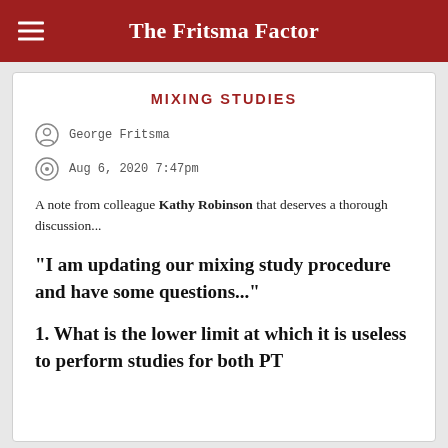The Fritsma Factor
MIXING STUDIES
George Fritsma
Aug 6, 2020 7:47pm
A note from colleague Kathy Robinson that deserves a thorough discussion...
"I am updating our mixing study procedure and have some questions..."
1. What is the lower limit at which it is useless to perform studies for both PT